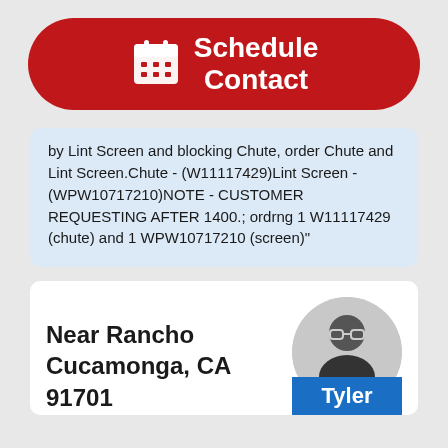[Figure (other): Red pill-shaped button with calendar icon and text 'Schedule Contact']
by Lint Screen and blocking Chute, order Chute and Lint Screen.Chute - (W11117429)Lint Screen - (WPW10717210)NOTE - CUSTOMER REQUESTING AFTER 1400.; ordrng 1 W11117429 (chute) and 1 WPW10717210 (screen)"
Near Rancho Cucamonga, CA 91701
[Figure (photo): Circular profile photo of technician Tyler, a man wearing glasses and a dark shirt]
Tyler